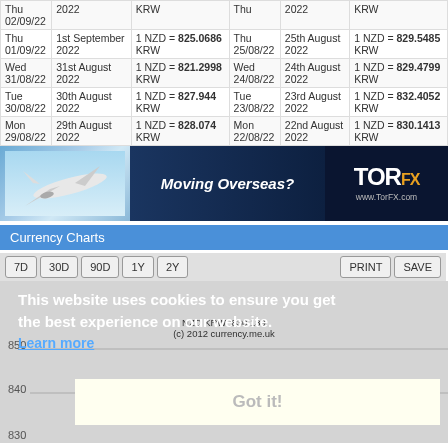| Day | Date | Rate | Day | Date | Rate |
| --- | --- | --- | --- | --- | --- |
| Thu
01/09/22 | 1st September
2022 | 1 NZD = 825.0686
KRW | Thu
25/08/22 | 25th August
2022 | 1 NZD = 829.5485
KRW |
| Wed
31/08/22 | 31st August
2022 | 1 NZD = 821.2998
KRW | Wed
24/08/22 | 24th August
2022 | 1 NZD = 829.4799
KRW |
| Tue
30/08/22 | 30th August
2022 | 1 NZD = 827.944
KRW | Tue
23/08/22 | 23rd August
2022 | 1 NZD = 832.4052
KRW |
| Mon
29/08/22 | 29th August
2022 | 1 NZD = 828.074
KRW | Mon
22/08/22 | 22nd August
2022 | 1 NZD = 830.1413
KRW |
[Figure (illustration): TorFX advertisement banner: airplane photo on left, 'Moving Overseas?' text center, TorFX logo on right with www.TorFX.com URL]
Currency Charts
[Figure (continuous-plot): NZD KRW line chart showing exchange rate around 830.139. Y-axis shows values 850, 840, 830 (partially visible). Cookie consent overlay with 'Got it!' button visible.]